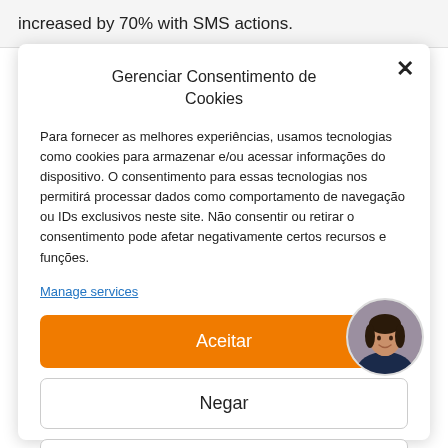increased by 70% with SMS actions.
Gerenciar Consentimento de Cookies
Para fornecer as melhores experiências, usamos tecnologias como cookies para armazenar e/ou acessar informações do dispositivo. O consentimento para essas tecnologias nos permitirá processar dados como comportamento de navegação ou IDs exclusivos neste site. Não consentir ou retirar o consentimento pode afetar negativamente certos recursos e funções.
Manage services
Aceitar
Negar
Ver preferências
[Figure (photo): Circular avatar photo of a woman with dark hair, smiling, wearing a dark blazer]
Privacy Statement